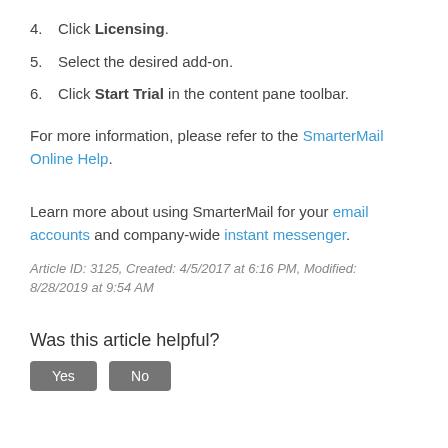4. Click Licensing.
5. Select the desired add-on.
6. Click Start Trial in the content pane toolbar.
For more information, please refer to the SmarterMail Online Help.
Learn more about using SmarterMail for your email accounts and company-wide instant messenger.
Article ID: 3125, Created: 4/5/2017 at 6:16 PM, Modified: 8/28/2019 at 9:54 AM
Was this article helpful?
Yes  No